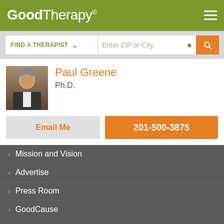GoodTherapy®
FIND A THERAPIST  Enter ZIP or City
Paul Greene
Ph.D.
Email Me
201-500-3875
Mission and Vision
Advertise
Press Room
GoodCause
Therapist Membership
GoodTherapy uses cookies to personalize content and ads to provide better services for our users and to analyze our traffic. By continuing to use this site you consent to our cookies.